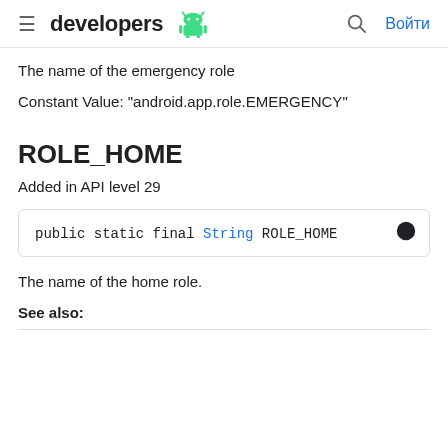developers | Войти
The name of the emergency role
Constant Value: "android.app.role.EMERGENCY"
ROLE_HOME
Added in API level 29
public static final String ROLE_HOME
The name of the home role.
See also: